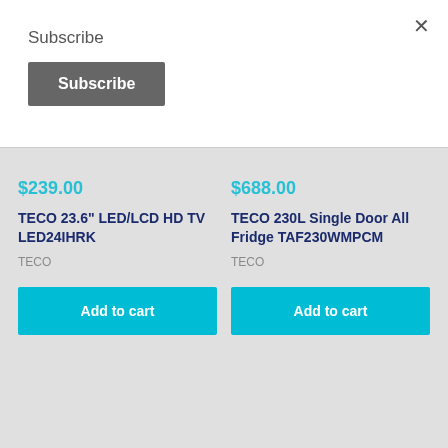×
Subscribe
Subscribe
$239.00
TECO 23.6" LED/LCD HD TV LED24IHRK
TECO
Add to cart
$688.00
TECO 230L Single Door All Fridge TAF230WMPCM
TECO
Add to cart